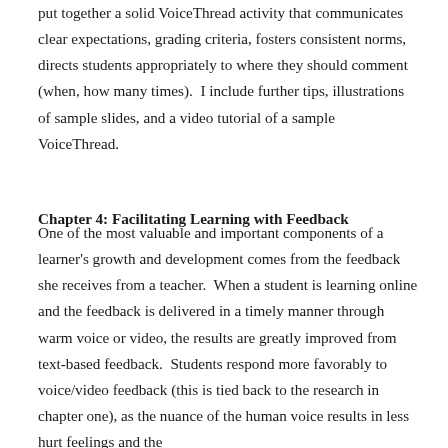put together a solid VoiceThread activity that communicates clear expectations, grading criteria, fosters consistent norms, directs students appropriately to where they should comment (when, how many times).  I include further tips, illustrations of sample slides, and a video tutorial of a sample VoiceThread.
Chapter 4: Facilitating Learning with Feedback
One of the most valuable and important components of a learner's growth and development comes from the feedback she receives from a teacher.  When a student is learning online and the feedback is delivered in a timely manner through warm voice or video, the results are greatly improved from text-based feedback.  Students respond more favorably to voice/video feedback (this is tied back to the research in chapter one), as the nuance of the human voice results in less hurt feelings and the